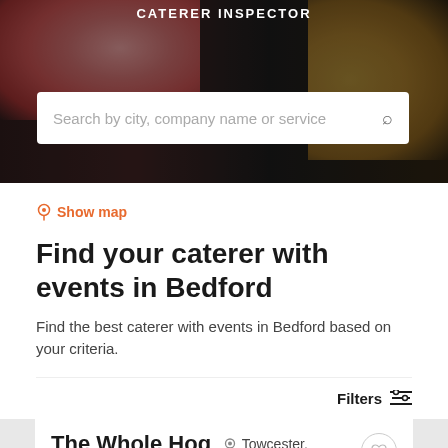CATERER INSPECTOR
[Figure (photo): Food photography background image showing pink/red food items on the left and golden food on the right against a dark background]
Search by city, company name or service
🔍 Show map
Find your caterer with events in Bedford
Find the best caterer with events in Bedford based on your criteria.
Filters
The Whole Hog Roast – Milton
Towcester, Northamptonshire